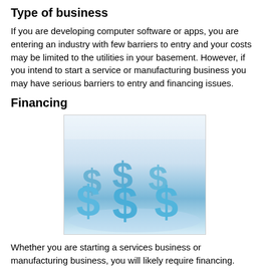Type of business
If you are developing computer software or apps, you are entering an industry with few barriers to entry and your costs may be limited to the utilities in your basement. However, if you intend to start a service or manufacturing business you may have serious barriers to entry and financing issues.
Financing
[Figure (photo): Blue 3D dollar sign symbols arranged in a group on a white surface, representing financing and money.]
Whether you are starting a services business or manufacturing business, you will likely require financing. Although you may be able to access some small business loans (research which loans are available to start up...